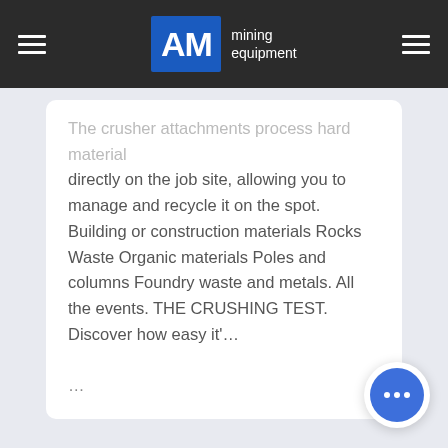AMC mining equipment
The crusher attachments process hard material directly on the job site, allowing you to manage and recycle it on the spot. Building or construction materials Rocks Waste Organic materials Poles and columns Foundry waste and metals. All the events. THE CRUSHING TEST. Discover how easy it'...
...